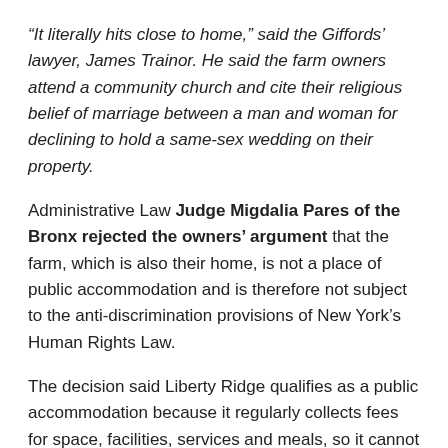“It literally hits close to home,” said the Giffords’ lawyer, James Trainor. He said the farm owners attend a community church and cite their religious belief of marriage between a man and woman for declining to hold a same-sex wedding on their property.
Administrative Law Judge Migdalia Pares of the Bronx rejected the owners’ argument that the farm, which is also their home, is not a place of public accommodation and is therefore not subject to the anti-discrimination provisions of New York’s Human Rights Law.
The decision said Liberty Ridge qualifies as a public accommodation because it regularly collects fees for space, facilities, services and meals, so it cannot be considered “distinctly private.”